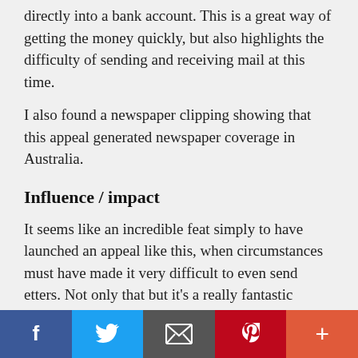directly into a bank account. This is a great way of getting the money quickly, but also highlights the difficulty of sending and receiving mail at this time.
I also found a newspaper clipping showing that this appeal generated newspaper coverage in Australia.
Influence / impact
It seems like an incredible feat simply to have launched an appeal like this, when circumstances must have made it very difficult to even send etters. Not only that but it's a really fantastic example of how moving a direct mail appeal can be. A children's hospital is destroyed, we put the rubble in your hand, you help rebuild it. Brilliant. Not even a world war will get in the way of that objective.
I've tried to piece together the story behind this appeal,
[Figure (infographic): Social sharing bar with five buttons: Facebook (dark blue, f icon), Twitter (blue, bird icon), Email (dark grey, envelope icon), Pinterest (red, P icon), More/Plus (orange-red, + icon)]